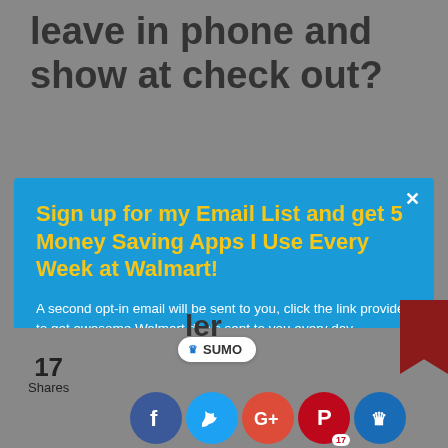leave in phone and show at check out?
Sign up for my Email List and get 5 Money Saving Apps I Use Every Week at Walmart!
A second opt-in email will be sent to you, click the link provided to get awesome Walmart deals sent to you every day.
Enter your Email
SUBSCRIBE NOW
17 Shares
[Figure (logo): SUMO badge with crown icon]
[Figure (illustration): Social media share icons: Facebook, Twitter, Google+, Pinterest, Sumo; with share counts]